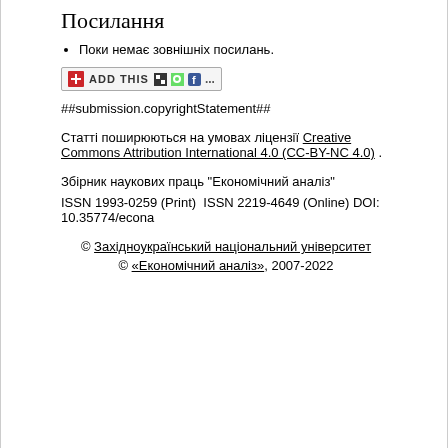Посилання
Поки немає зовнішніх посилань.
[Figure (other): AddThis social sharing widget with icons (bookmark, share, Facebook, etc.)]
##submission.copyrightStatement##
Статті поширюються на умовах ліцензії Creative Commons Attribution International 4.0 (CC-BY-NC 4.0) .
Збірник наукових праць "Економічний аналіз"
ISSN 1993-0259 (Print)  ISSN 2219-4649 (Online) DOI: 10.35774/econa
© Західноукраїнський національний університет
© «Економічний аналіз», 2007-2022